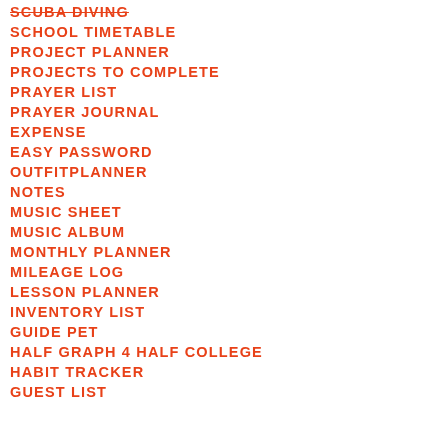SCUBA DIVING
SCHOOL TIMETABLE
PROJECT PLANNER
PROJECTS TO COMPLETE
PRAYER LIST
PRAYER JOURNAL
EXPENSE
EASY PASSWORD
OUTFITPLANNER
NOTES
MUSIC SHEET
MUSIC ALBUM
MONTHLY PLANNER
MILEAGE LOG
LESSON PLANNER
INVENTORY LIST
GUIDE PET
HALF GRAPH 4 HALF COLLEGE
HABIT TRACKER
GUEST LIST